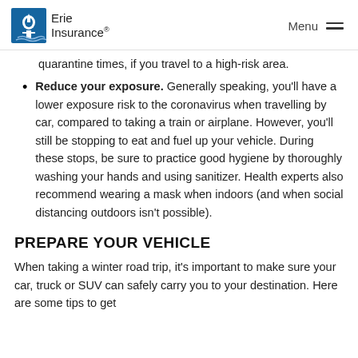Erie Insurance | Menu
quarantine times, if you travel to a high-risk area.
Reduce your exposure. Generally speaking, you'll have a lower exposure risk to the coronavirus when travelling by car, compared to taking a train or airplane. However, you'll still be stopping to eat and fuel up your vehicle. During these stops, be sure to practice good hygiene by thoroughly washing your hands and using sanitizer. Health experts also recommend wearing a mask when indoors (and when social distancing outdoors isn't possible).
PREPARE YOUR VEHICLE
When taking a winter road trip, it's important to make sure your car, truck or SUV can safely carry you to your destination. Here are some tips to get